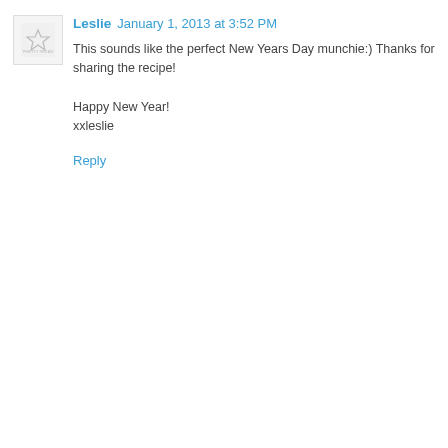[Figure (logo): Small square avatar image with a faint logo/icon in the center on a light gray background]
Leslie  January 1, 2013 at 3:52 PM
This sounds like the perfect New Years Day munchie:) Thanks for sharing the recipe!

Happy New Year!
xxleslie
Reply